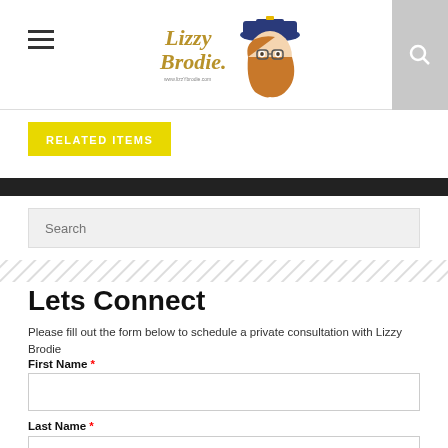[Figure (logo): Lizzy Brodie website logo with stylized script text and illustrated female character wearing a blue cap]
RELATED ITEMS
[Figure (screenshot): Search input box with placeholder text 'Search']
Lets Connect
Please fill out the form below to schedule a private consultation with Lizzy Brodie
First Name *
Last Name *